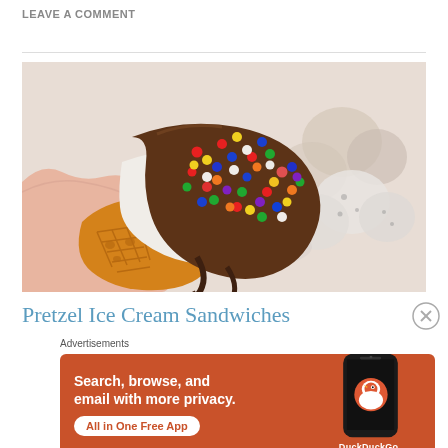LEAVE A COMMENT
[Figure (photo): A hand holding a chocolate-dipped pretzel ice cream sandwich covered in colorful sprinkles, with more treats visible in the background on a white surface.]
Pretzel Ice Cream Sandwiches
Advertisements
[Figure (screenshot): DuckDuckGo advertisement banner on orange/terracotta background showing a smartphone with DuckDuckGo logo. Text: 'Search, browse, and email with more privacy. All in One Free App'. DuckDuckGo logo and wordmark visible on phone screen.]